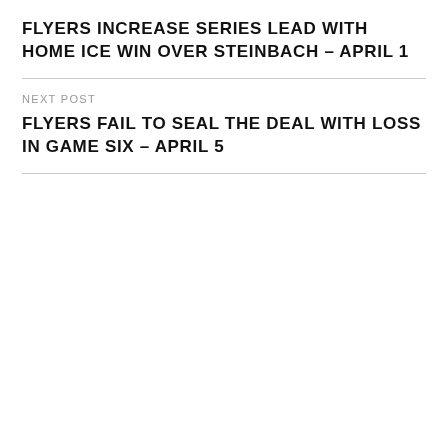FLYERS INCREASE SERIES LEAD WITH HOME ICE WIN OVER STEINBACH – APRIL 1
NEXT POST
FLYERS FAIL TO SEAL THE DEAL WITH LOSS IN GAME SIX – APRIL 5